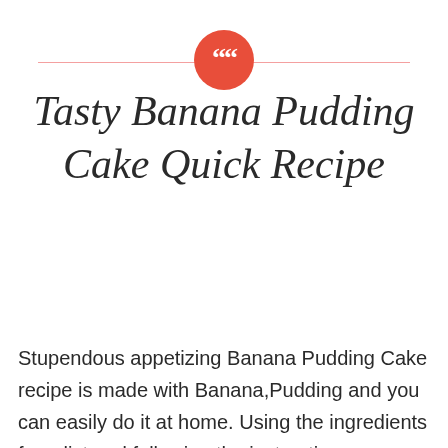[Figure (illustration): Orange/red circle with white quotation mark symbol, flanked by a thin pink horizontal line on both sides]
Tasty Banana Pudding Cake Quick Recipe
[Figure (illustration): Thin pink horizontal line with a downward-pointing pink triangle in the center]
Stupendous appetizing Banana Pudding Cake recipe is made with Banana,Pudding and you can easily do it at home. Using the ingredients from list and following the instructions supplied you